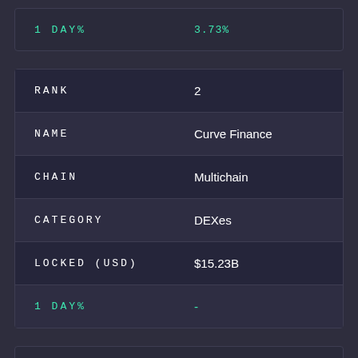| Field | Value |
| --- | --- |
| 1 DAY% | 3.73% |
| Field | Value |
| --- | --- |
| RANK | 2 |
| NAME | Curve Finance |
| CHAIN | Multichain |
| CATEGORY | DEXes |
| LOCKED (USD) | $15.23B |
| 1 DAY% | - |
| Field | Value |
| --- | --- |
| RANK | 3 |